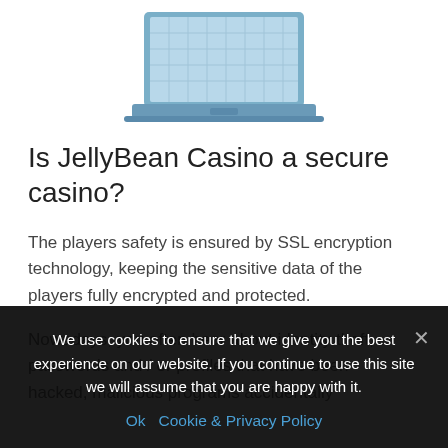[Figure (illustration): Laptop computer illustration with light blue/steel blue coloring, showing the screen with a grid pattern and the base/keyboard area]
Is JellyBean Casino a secure casino?
The players safety is ensured by SSL encryption technology, keeping the sensitive data of the players fully encrypted and protected.
Nowadays, you often hear about identity theft, passwords and / or profiles that have been hacked, malicious programs accidentally
We use cookies to ensure that we give you the best experience on our website. If you continue to use this site we will assume that you are happy with it.
Ok   Cookie & Privacy Policy